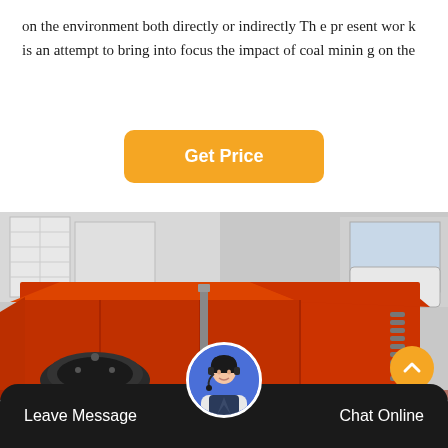on the environment both directly or indirectly Th e pr esent wor k is an attempt to bring into focus the impact of coal minin g on the
[Figure (other): Orange 'Get Price' button with rounded corners on white background]
[Figure (photo): Photograph of a large red industrial coal mining/crushing machine with orange-red painted metal body, black cylindrical drum at front, coiled metal parts on right side, photographed outdoors with buildings in background]
[Figure (other): Yellow circular scroll-to-top button with upward chevron arrow, positioned bottom right over photo]
[Figure (other): Dark bottom navigation bar with 'Leave Message' on left, customer service avatar in center, 'Chat Online' on right]